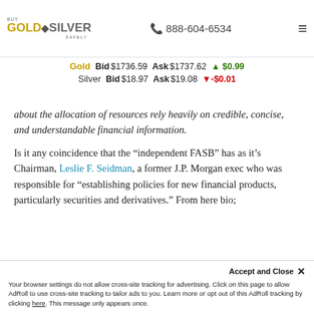Buy Gold & Silver Safely | 888-604-6534
Gold  Bid $1736.59  Ask $1737.62  ▲ $0.99
Silver  Bid $18.97  Ask $19.08  ▼ -$0.01
about the allocation of resources rely heavily on credible, concise, and understandable financial information.
Is it any coincidence that the "independent FASB" has as it's Chairman, Leslie F. Seidman, a former J.P. Morgan exec who was responsible for "establishing policies for new financial products, particularly securities and derivatives." From here bio;
Your browser settings do not allow cross-site tracking for advertising. Click on this page to allow AdRoll to use cross-site tracking to tailor ads to you. Learn more or opt out of this AdRoll tracking by clicking here. This message only appears once.